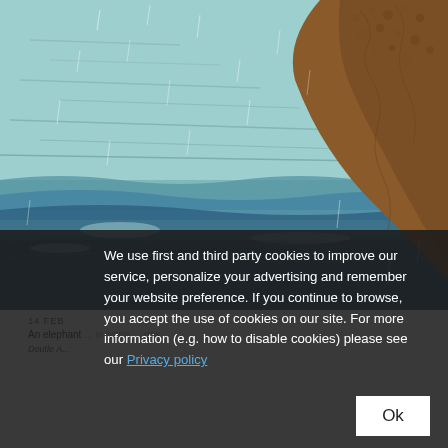[Figure (photo): Close-up photo of an elephant's leg/trunk splashing in water with rain falling, teal/blue water and wet skin visible, brown textured hide in upper right]
14 FEB
An elephant ... in water ... ges.
Doutle A...
We use first and third party cookies to improve our service, personalize your advertising and remember your website preference. If you continue to browse, you accept the use of cookies on our site. For more information (e.g. how to disable cookies) please see our Privacy policy